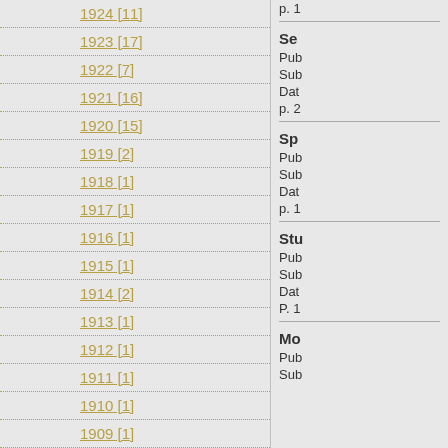1924 [11]
1923 [17]
1922 [7]
1921 [16]
1920 [15]
1919 [2]
1918 [1]
1917 [1]
1916 [1]
1915 [1]
1914 [2]
1913 [1]
1912 [1]
1911 [1]
1910 [1]
1909 [1]
1908 [1]
1907 [1]
1906 [1]
1905 [1]
1904 [1]
p. 1
Se...
Pub
Sub
Dat
p. 2
Sp...
Pub
Sub
Dat
p. 1
Stu...
Pub
Sub
Dat
P. 1
Mo...
Pub
Sub